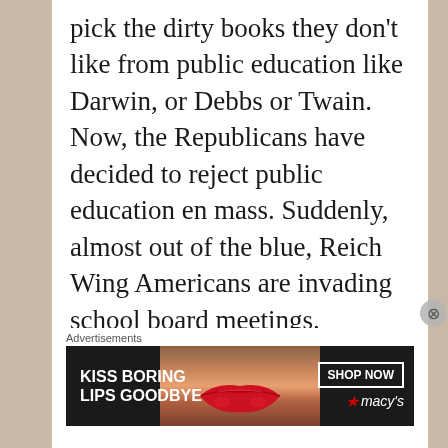pick the dirty books they don't like from public education like Darwin, or Debbs or Twain. Now, the Republicans have decided to reject public education en mass. Suddenly, almost out of the blue, Reich Wing Americans are invading school board meetings. Gee, they never attended before
Advertisements
[Figure (photo): Macy's advertisement banner with text 'KISS BORING LIPS GOODBYE' on dark background with woman's lips photo, and 'SHOP NOW' button with Macy's star logo]